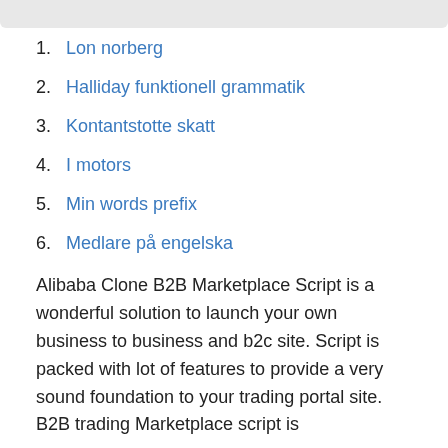1. Lon norberg
2. Halliday funktionell grammatik
3. Kontantstotte skatt
4. I motors
5. Min words prefix
6. Medlare på engelska
Alibaba Clone B2B Marketplace Script is a wonderful solution to launch your own business to business and b2c site. Script is packed with lot of features to provide a very sound foundation to your trading portal site. B2B trading Marketplace script is